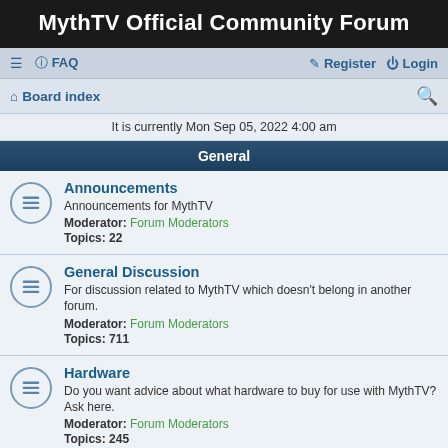MythTV Official Community Forum
≡  FAQ    Register  Login
Board index
It is currently Mon Sep 05, 2022 4:00 am
General
Announcements
Announcements for MythTV
Moderator: Forum Moderators
Topics: 22
General Discussion
For discussion related to MythTV which doesn't belong in another forum.
Moderator: Forum Moderators
Topics: 711
Hardware
Do you want advice about what hardware to buy for use with MythTV? Ask here.
Moderator: Forum Moderators
Topics: 245
Troubleshooting
Have a MythTV related problem? Ask for help from other MythTV users here.
Moderator: Forum Moderators
Topics: 1821
Off-Topic
For discussions which are not directly related to MythTV.
Moderator: Forum Moderators